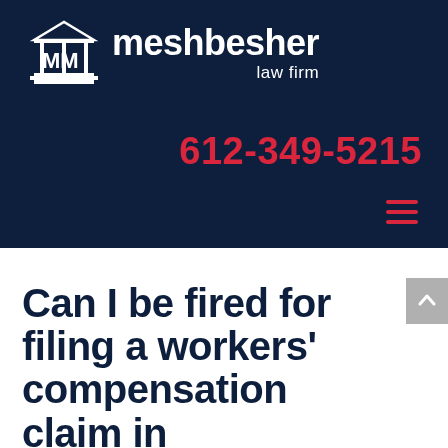[Figure (logo): Meshbesher Law Firm logo with temple/courthouse icon and firm name in white on dark navy background]
612-349-5215
[Figure (other): Red hamburger menu icon (three horizontal lines)]
Can I be fired for filing a workers' compensation claim in Minnesota?